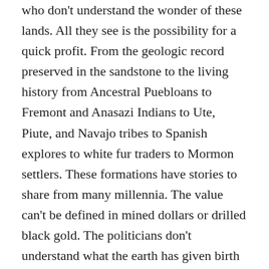who don't understand the wonder of these lands. All they see is the possibility for a quick profit. From the geologic record preserved in the sandstone to the living history from Ancestral Puebloans to Fremont and Anasazi Indians to Ute, Piute, and Navajo tribes to Spanish explores to white fur traders to Mormon settlers. These formations have stories to share from many millennia. The value can't be defined in mined dollars or drilled black gold. The politicians don't understand what the earth has given birth to here. I love these lands. My nature is their nature. My love letter to Utah's Big 5.
Gentle hands stroke my Delicate Arch as you find the right spot.
Dark Angel come to my Devil's Garden and play with immortal desire.